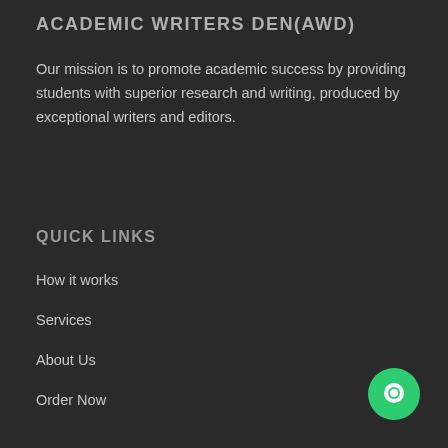ACADEMIC WRITERS DEN(AWD)
Our mission is to promote academic success by providing students with superior research and writing, produced by exceptional writers and editors.
QUICK LINKS
How it works
Services
About Us
Order Now
[Figure (illustration): Green circular chat/messaging button icon in bottom-right corner]